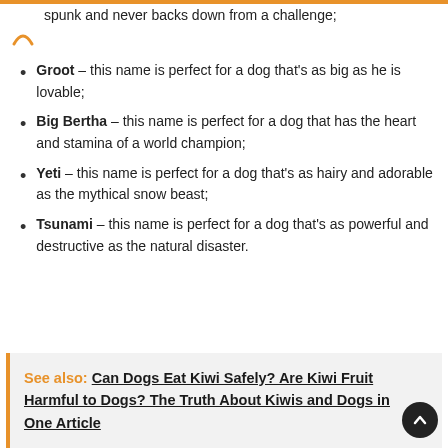spunk and never backs down from a challenge;
Groot – this name is perfect for a dog that's as big as he is lovable;
Big Bertha – this name is perfect for a dog that has the heart and stamina of a world champion;
Yeti – this name is perfect for a dog that's as hairy and adorable as the mythical snow beast;
Tsunami – this name is perfect for a dog that's as powerful and destructive as the natural disaster.
See also: Can Dogs Eat Kiwi Safely? Are Kiwi Fruit Harmful to Dogs? The Truth About Kiwis and Dogs in One Article